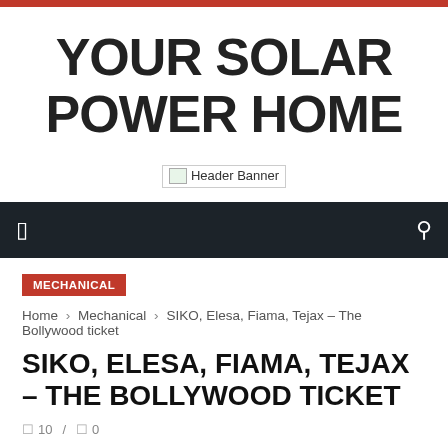YOUR SOLAR POWER HOME
[Figure (other): Header Banner image placeholder]
Navigation bar with menu and search icons
MECHANICAL
Home › Mechanical › SIKO, Elesa, Fiama, Tejax – The Bollywood ticket
SIKO, ELESA, FIAMA, TEJAX – THE BOLLYWOOD TICKET
10 / 0